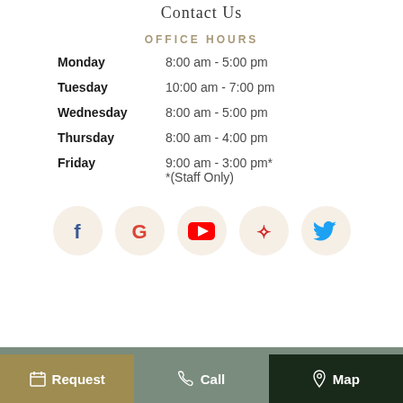Contact Us
OFFICE HOURS
Monday   8:00 am - 5:00 pm
Tuesday   10:00 am - 7:00 pm
Wednesday   8:00 am - 5:00 pm
Thursday   8:00 am - 4:00 pm
Friday   9:00 am - 3:00 pm*
*(Staff Only)
[Figure (infographic): Social media icons in beige circles: Facebook, Google, YouTube, Yelp, Twitter]
Request | Call | Map